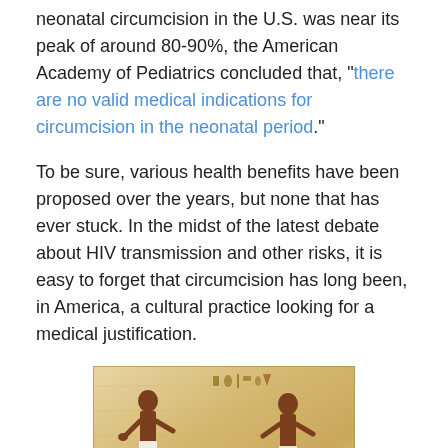neonatal circumcision in the U.S. was near its peak of around 80-90%, the American Academy of Pediatrics concluded that, “there are no valid medical indications for circumcision in the neonatal period.”
To be sure, various health benefits have been proposed over the years, but none that has ever stuck. In the midst of the latest debate about HIV transmission and other risks, it is easy to forget that circumcision has long been, in America, a cultural practice looking for a medical justification.
[Figure (illustration): Ancient Egyptian illustration/painting showing figures performing a circumcision ritual, with brown-skinned figures in traditional Egyptian artistic style on a papyrus-colored background.]